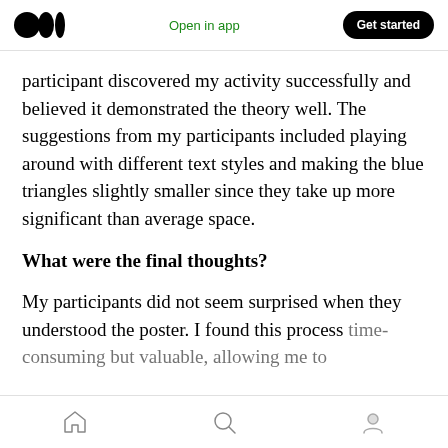Medium logo | Open in app | Get started
participant discovered my activity successfully and believed it demonstrated the theory well. The suggestions from my participants included playing around with different text styles and making the blue triangles slightly smaller since they take up more significant than average space.
What were the final thoughts?
My participants did not seem surprised when they understood the poster. I found this process time-consuming but valuable, allowing me to
Home | Search | Profile